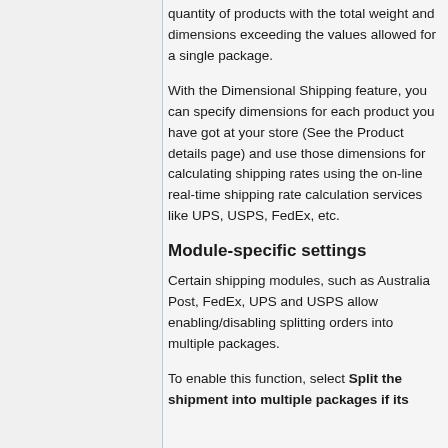quantity of products with the total weight and dimensions exceeding the values allowed for a single package.
With the Dimensional Shipping feature, you can specify dimensions for each product you have got at your store (See the Product details page) and use those dimensions for calculating shipping rates using the on-line real-time shipping rate calculation services like UPS, USPS, FedEx, etc.
Module-specific settings
Certain shipping modules, such as Australia Post, FedEx, UPS and USPS allow enabling/disabling splitting orders into multiple packages.
To enable this function, select Split the shipment into multiple packages if its